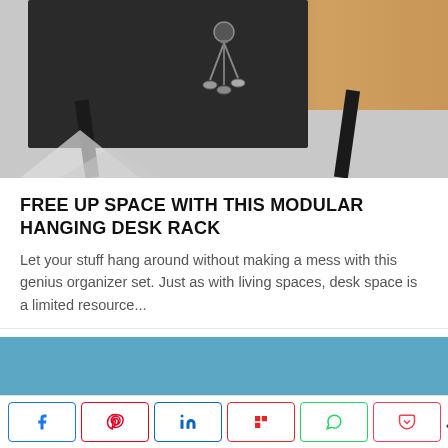[Figure (photo): Photo of a modular hanging desk rack in black mounted under a desk, holding keys, with a wooden desk surface visible in the background]
FREE UP SPACE WITH THIS MODULAR HANGING DESK RACK
Let your stuff hang around without making a mess with this genius organizer set. Just as with living spaces, desk space is a limited resource...
[Figure (photo): Blue/teal banner image]
< 717 SHARES — social share buttons: Facebook, Pinterest, LinkedIn, Flipboard, WhatsApp, Pocket